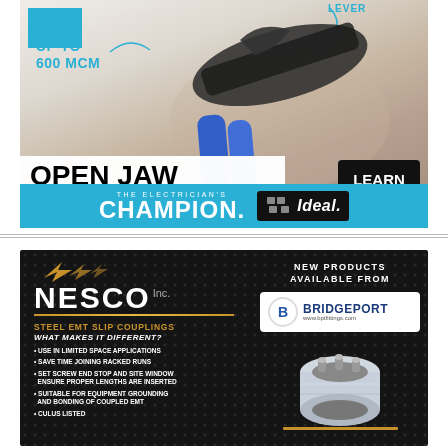[Figure (photo): Advertisement showing a hand holding an open jaw ratcheting cable cutter tool against a light background, with a blue square in top-left corner and arrow annotations pointing to LEVER label and jaw capacity.]
UP TO 600 MCM
LEVER
OPEN JAW RATCHETING CABLE CUTTER
LEARN MORE
THE ELECTRICIAN'S CHAMPION. IDEAL.
[Figure (photo): Advertisement for NESCO Inc. on dark dotted background showing Steel EMT Slip Couplings with a metallic coupler product image on the right, and Bridgeport new products logo.]
NESCO Inc.
STEEL EMT SLIP COUPLINGS
WHAT MAKES IT DIFFERENT?
• USE IN LIMITED SPACE APPLICATIONS
• SAVE TIME JOINING RACKED RUNS
• SET SCREW END STOP AND SITE WINDOW ENSURE PROPER LENGTHS ARE INSERTED
• SUITABLE FOR EQUIPMENT GROUNDING AND BONDING OF COUPLED EMT
• CULUS LISTED
NEW PRODUCTS AVAILABLE FROM BRIDGEPORT www.bptfittings.com